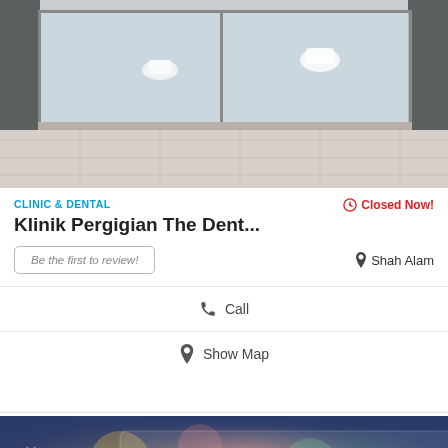[Figure (photo): Exterior photo of a dental clinic with glass sliding doors and tiled floor]
CLINIC & DENTAL
Closed Now!
Klinik Pergigian The Dent...
Be the first to review!
Shah Alam
Call
Show Map
[Figure (photo): Promotional banner with blurred bokeh background showing 'START YOUR BUSINESS' text in dark blue bold letters, with a heart icon overlay and reCAPTCHA badge]